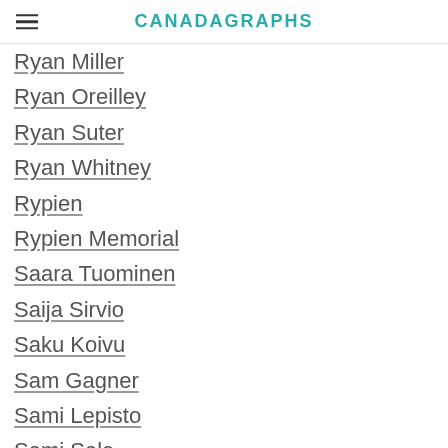CANADAGRAPHS
Ryan Miller
Ryan Oreilley
Ryan Suter
Ryan Whitney
Rypien
Rypien Memorial
Saara Tuominen
Saija Sirvio
Saku Koivu
Sam Gagner
Sami Lepisto
Sami Salo
Samuel Pahlsson
Sandis Ozolinsh
Sandy Jeannin